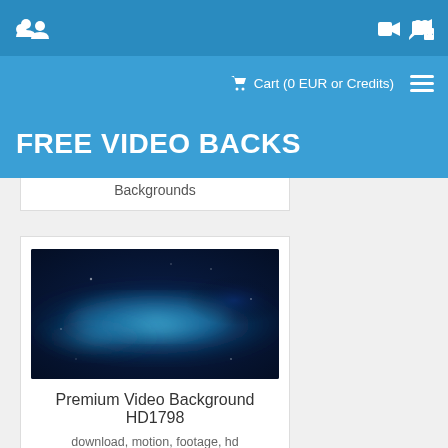FREE VIDEO BACKS
Cart (0 EUR or Credits)
Backgrounds
[Figure (photo): Blue nebula/particle video background thumbnail for Premium Video Background HD1798]
Premium Video Background HD1798
download, motion, footage, hd